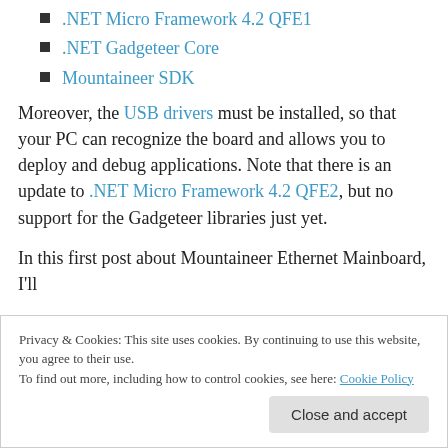.NET Micro Framework 4.2 QFE1
.NET Gadgeteer Core
Mountaineer SDK
Moreover, the USB drivers must be installed, so that your PC can recognize the board and allows you to deploy and debug applications. Note that there is an update to .NET Micro Framework 4.2 QFE2, but no support for the Gadgeteer libraries just yet.
In this first post about Mountaineer Ethernet Mainboard, I'll
Privacy & Cookies: This site uses cookies. By continuing to use this website, you agree to their use.
To find out more, including how to control cookies, see here: Cookie Policy